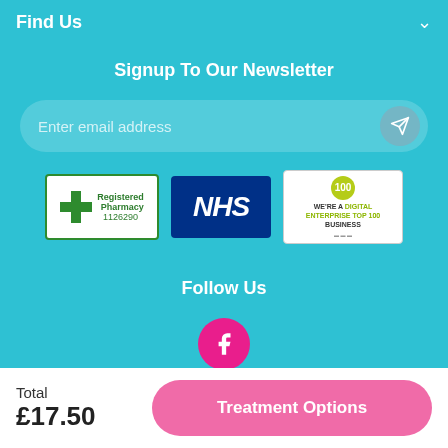Find Us
Signup To Our Newsletter
Enter email address
[Figure (logo): Registered Pharmacy 1126290 badge with green cross]
[Figure (logo): NHS blue logo]
[Figure (logo): 100 We're A Digital Enterprise Top 100 Business badge]
Follow Us
Total £17.50
Treatment Options